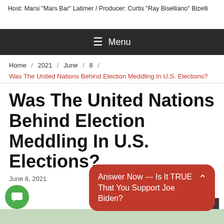Host: Marsi "Mars Bar" Latimer / Producer: Curtis "Ray Biselliano" Bizelli
☰ Menu
Home / 2021 / June / 8 / Was The United Nations Behind Election Meddling In U.S. Elections?
Was The United Nations Behind Election Meddling In U.S. Elections?
June 8, 2021
Answer Now --- Is It TRUE That You Support Joe Biden?